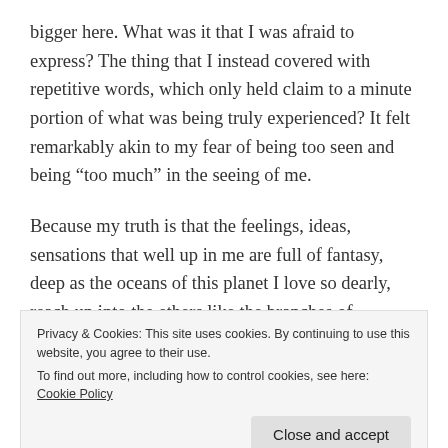bigger here. What was it that I was afraid to express? The thing that I instead covered with repetitive words, which only held claim to a minute portion of what was being truly experienced? It felt remarkably akin to my fear of being too seen and being “too much” in the seeing of me.
Because my truth is that the feelings, ideas, sensations that well up in me are full of fantasy, deep as the oceans of this planet I love so dearly, reach up into the ethers like the branches of sycamore and sequoia.  My connection with the world and with creation goes wide
Privacy & Cookies: This site uses cookies. By continuing to use this website, you agree to their use.
To find out more, including how to control cookies, see here: Cookie Policy
upon my neck. I'm filled with ecstasy when I hear a blue